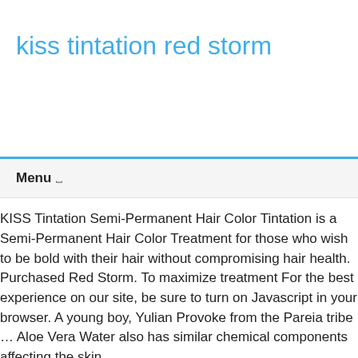kiss tintation red storm
Menu
KISS Tintation Semi-Permanent Hair Color Tintation is a Semi-Permanent Hair Color Treatment for those who wish to be bold with their hair without compromising hair health. Purchased Red Storm. To maximize treatment For the best experience on our site, be sure to turn on Javascript in your browser. A young boy, Yulian Provoke from the Pareia tribe … Aloe Vera Water also has similar chemical components affecting the skin ...